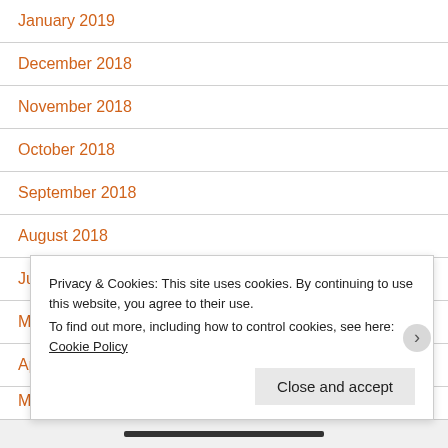January 2019
December 2018
November 2018
October 2018
September 2018
August 2018
July 2018
May 2018
April 2018
M
Privacy & Cookies: This site uses cookies. By continuing to use this website, you agree to their use.
To find out more, including how to control cookies, see here: Cookie Policy
Close and accept